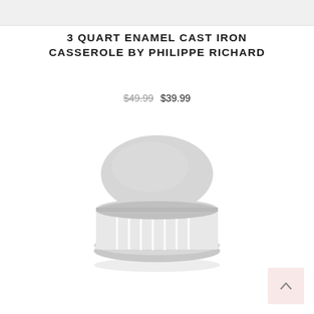3 QUART ENAMEL CAST IRON CASSEROLE BY PHILIPPE RICHARD
$49.99  $39.99
[Figure (photo): White enamel cast iron casserole lid knob, viewed from a slight angle, showing a round flat top and ribbed cylindrical sides with a silver metallic rim at the base.]